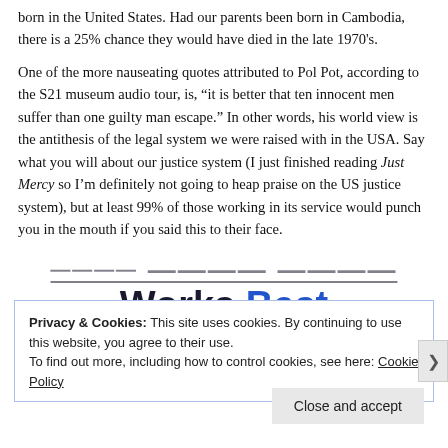born in the United States. Had our parents been born in Cambodia, there is a 25% chance they would have died in the late 1970's.
One of the more nauseating quotes attributed to Pol Pot, according to the S21 museum audio tour, is, "it is better that ten innocent men suffer than one guilty man escape." In other words, his world view is the antithesis of the legal system we were raised with in the USA. Say what you will about our justice system (I just finished reading Just Mercy so I'm definitely not going to heap praise on the US justice system), but at least 99% of those working in its service would punch you in the mouth if you said this to their face.
Where Neural Food Works Best
Privacy & Cookies: This site uses cookies. By continuing to use this website, you agree to their use.
To find out more, including how to control cookies, see here: Cookie Policy